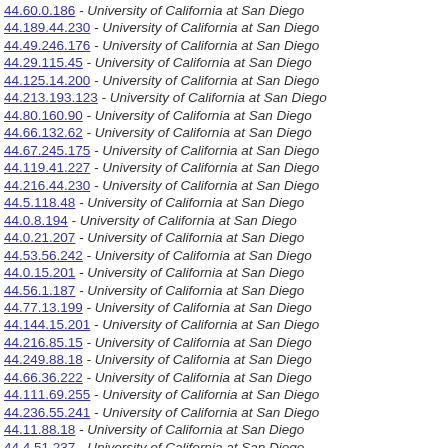44.60.0.186 - University of California at San Diego
44.189.44.230 - University of California at San Diego
44.49.246.176 - University of California at San Diego
44.29.115.45 - University of California at San Diego
44.125.14.200 - University of California at San Diego
44.213.193.123 - University of California at San Diego
44.80.160.90 - University of California at San Diego
44.66.132.62 - University of California at San Diego
44.67.245.175 - University of California at San Diego
44.119.41.227 - University of California at San Diego
44.216.44.230 - University of California at San Diego
44.5.118.48 - University of California at San Diego
44.0.8.194 - University of California at San Diego
44.0.21.207 - University of California at San Diego
44.53.56.242 - University of California at San Diego
44.0.15.201 - University of California at San Diego
44.56.1.187 - University of California at San Diego
44.77.13.199 - University of California at San Diego
44.144.15.201 - University of California at San Diego
44.216.85.15 - University of California at San Diego
44.249.88.18 - University of California at San Diego
44.66.36.222 - University of California at San Diego
44.111.69.255 - University of California at San Diego
44.236.55.241 - University of California at San Diego
44.11.88.18 - University of California at San Diego
44.4.51.237 - University of California at San Diego
44.32.96.26 - University of California at San Diego
44.197.39.225 - University of California at San Diego
44.166.186.116 - University of California at San Diego
44.227.211.141 - University of California at San Diego